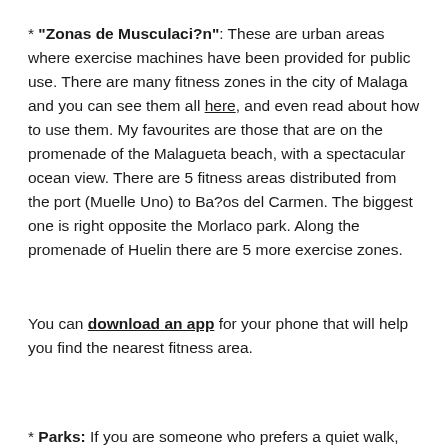* "Zonas de Musculaci?n": These are urban areas where exercise machines have been provided for public use. There are many fitness zones in the city of Malaga and you can see them all here, and even read about how to use them. My favourites are those that are on the promenade of the Malagueta beach, with a spectacular ocean view. There are 5 fitness areas distributed from the port (Muelle Uno) to Ba?os del Carmen. The biggest one is right opposite the Morlaco park. Along the promenade of Huelin there are 5 more exercise zones.
You can download an app for your phone that will help you find the nearest fitness area.
* Parks: If you are someone who prefers a quiet walk, meditation or some yoga, we recommend ?Huelin park, the ?Oeste park or Morlaco park.